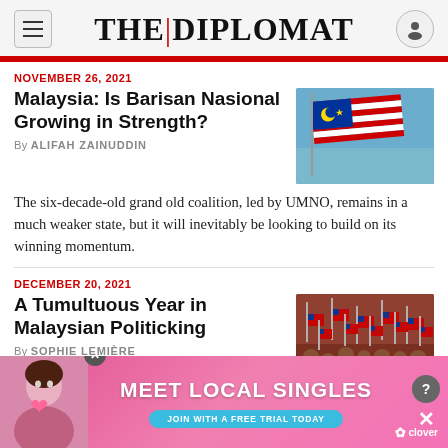THE DIPLOMAT
NOVEMBER 26, 2021
Malaysia: Is Barisan Nasional Growing in Strength?
By ALIFAH ZAINUDDIN
[Figure (photo): Malaysian flag waving against blue sky]
The six-decade-old grand old coalition, led by UMNO, remains in a much weaker state, but it will inevitably be looking to build on its winning momentum.
DECEMBER 20, 2021
A Tumultuous Year in Malaysian Politicking
By SOPHIE LEMIÈRE
[Figure (photo): Crowd waving Malaysian flags at a political rally]
The shifting political allegiances of the past three
[Figure (infographic): Advertisement: Meet Local Singles - Join with a free trial today - Clover app]